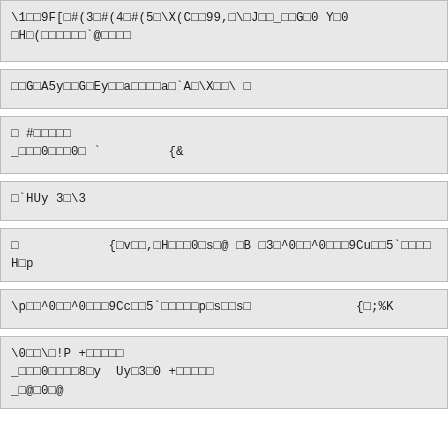\1□□9F[□#(3□#(4□#(5□\X(C□□99,□\□J□□_□□G□0 Y□0 □H□(□□□□□□`@□□□□
□□G□A5y□□G□Ey□□a□□□□a□`A□\X□□\ □
□ #□□□□□
_□□□0□□□0□`         {&
□`HUy 3□\3
□            {□v□□,□H□□□0□s□@ □B □3□^0□□^0□□□9Cu□□5`□□□□H□p
\p□□^0□□^0□□□9Cc□□5`□□□□□p□s□□s□              {□;%K
\0□□\□!P +□□□□□
_□□□0□□□□8□y  Uy□3□0 +□□□□□
_□@□0□@